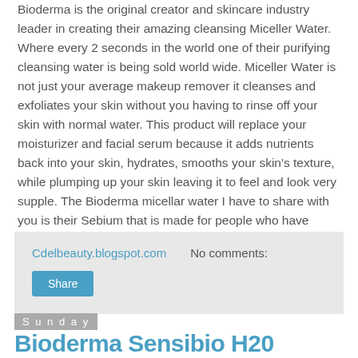Bioderma is the original creator and skincare industry leader in creating their amazing cleansing Miceller Water. Where every 2 seconds in the world one of their purifying cleansing water is being sold world wide. Miceller Water is not just your average makeup remover it cleanses and exfoliates your skin without you having to rinse off your skin with normal water. This product will replace your moisturizer and facial serum because it adds nutrients back into your skin, hydrates, smooths your skin's texture, while plumping up your skin leaving it to feel and look very supple. The Bioderma micellar water I have to share with you is their Sebium that is made for people who have combination to oily skin.
Cdelbeauty.blogspot.com   No comments:
Share
Sunday
Bioderma Sensibio H20